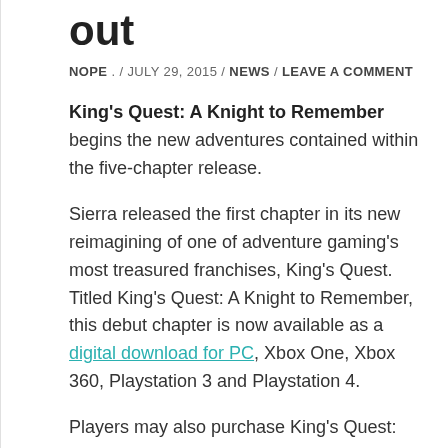out
NOPE . / JULY 29, 2015 / NEWS / LEAVE A COMMENT
King's Quest: A Knight to Remember begins the new adventures contained within the five-chapter release.
Sierra released the first chapter in its new reimagining of one of adventure gaming's most treasured franchises, King's Quest. Titled King's Quest: A Knight to Remember, this debut chapter is now available as a digital download for PC, Xbox One, Xbox 360, Playstation 3 and Playstation 4.
Players may also purchase King's Quest: The Complete Collection, a bundle containing all five chapters of the new King's Quest along with an exclusive bonus playable story epilogue* on the